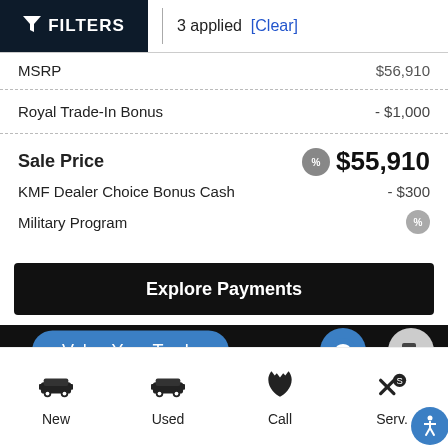FILTERS | 3 applied [Clear]
| Item | Value |
| --- | --- |
| MSRP | $56,910 |
| Royal Trade-In Bonus | - $1,000 |
| Sale Price | $55,910 |
| KMF Dealer Choice Bonus Cash | - $300 |
| Military Program |  |
Explore Payments
Value Your Trade
New | Used | Call | Serv.